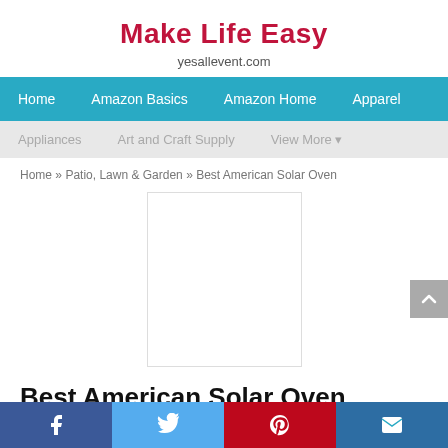Make Life Easy
yesallevent.com
Home | Amazon Basics | Amazon Home | Apparel
Appliances | Art and Craft Supply | View More ▾
Home » Patio, Lawn & Garden » Best American Solar Oven
[Figure (other): Advertisement or image placeholder — empty white rectangle with light border]
Best American Solar Oven